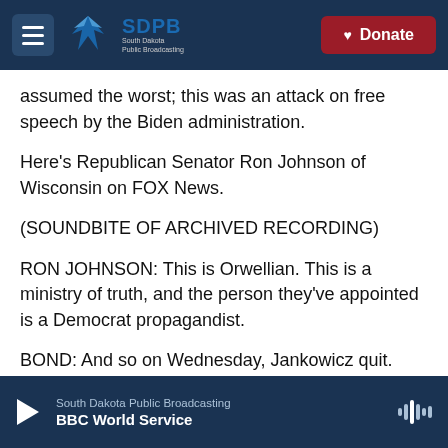SDPB South Dakota Public Broadcasting | Donate
assumed the worst; this was an attack on free speech by the Biden administration.
Here's Republican Senator Ron Johnson of Wisconsin on FOX News.
(SOUNDBITE OF ARCHIVED RECORDING)
RON JOHNSON: This is Orwellian. This is a ministry of truth, and the person they've appointed is a Democrat propagandist.
BOND: And so on Wednesday, Jankowicz quit.
South Dakota Public Broadcasting
BBC World Service